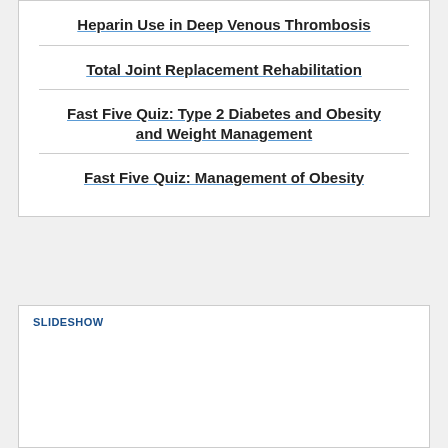Heparin Use in Deep Venous Thrombosis
Total Joint Replacement Rehabilitation
Fast Five Quiz: Type 2 Diabetes and Obesity and Weight Management
Fast Five Quiz: Management of Obesity
SLIDESHOW